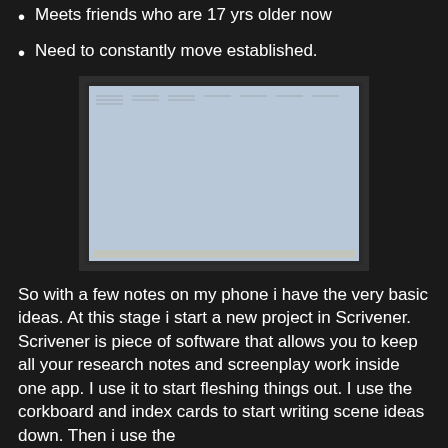Meets friends who are 17 yrs older now
Need to constantly move established.
[Figure (screenshot): A screenshot of a Scrivener corkboard view showing index cards arranged in a grid pattern with golden/orange borders on a light blue background.]
So with a few notes on my phone i have the very basic ideas. At this stage i start a new project in Scrivener. Scrivener is piece of software that allows you to keep all your research notes and screenplay work inside one app. I use it to start fleshing things out. I use the corkboard and index cards to start writing scene ideas down. Then i use the